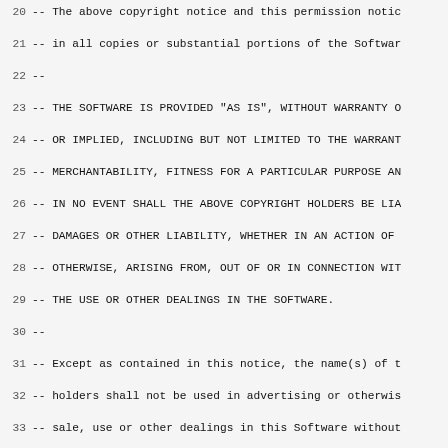Source code listing: Ada package Terminal_Interface.Curses.PutWin with license header, lines 20-50
20 -- The above copyright notice and this permission notic
21 -- in all copies or substantial portions of the Softwar
22 --
23 -- THE SOFTWARE IS PROVIDED "AS IS", WITHOUT WARRANTY O
24 -- OR IMPLIED, INCLUDING BUT NOT LIMITED TO THE WARRANT
25 -- MERCHANTABILITY, FITNESS FOR A PARTICULAR PURPOSE AN
26 -- IN NO EVENT SHALL THE ABOVE COPYRIGHT HOLDERS BE LIA
27 -- DAMAGES OR OTHER LIABILITY, WHETHER IN AN ACTION OF
28 -- OTHERWISE, ARISING FROM, OUT OF OR IN CONNECTION WIT
29 -- THE USE OR OTHER DEALINGS IN THE SOFTWARE.
30 --
31 -- Except as contained in this notice, the name(s) of t
32 -- holders shall not be used in advertising or otherwis
33 -- sale, use or other dealings in this Software without
34 -- authorization.
35 ------------------------------------------------
36 --  Author:  Juergen Pfeifer, 1996
37 --  Version Control:
38 --  $Revision: 1.3 $
39 --  Binding Version 01.00
40
41 with Ada.Streams.Stream_IO;
42
43 package Terminal_Interface.Curses.PutWin is
44
45    procedure Put_Window (Win  : Window;
46                          File : Ada.Streams.Stream_IO.F
47
48    function Get_Window (File  : Ada.Streams.Stream_IO.F
49
50 end Terminal_Interface.Curses.PutWin;